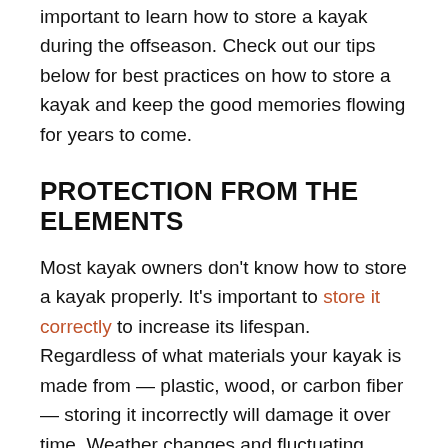important to learn how to store a kayak during the offseason. Check out our tips below for best practices on how to store a kayak and keep the good memories flowing for years to come.
PROTECTION FROM THE ELEMENTS
Most kayak owners don't know how to store a kayak properly. It's important to store it correctly to increase its lifespan. Regardless of what materials your kayak is made from — plastic, wood, or carbon fiber — storing it incorrectly will damage it over time. Weather changes and fluctuating temperatures will eventually damage the hull.
Keeping a kayak outside will shorten its lifespan. Rain, snow, direct sunlight, moisture, and hail will slowly but